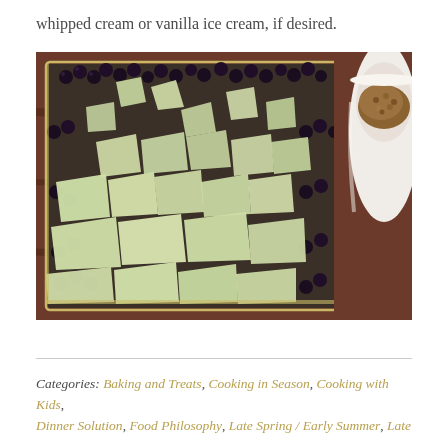whipped cream or vanilla ice cream, if desired.
[Figure (photo): A glass baking dish filled with blackberries and chopped green apple pieces, with a white bowl containing brown crumble topping visible in the upper right corner, on a dark wooden surface.]
Categories: Baking and Treats, Cooking in Season, Cooking with Kids, Dinner Solution, Food Philosophy, Late Spring / Early Summer, Late...